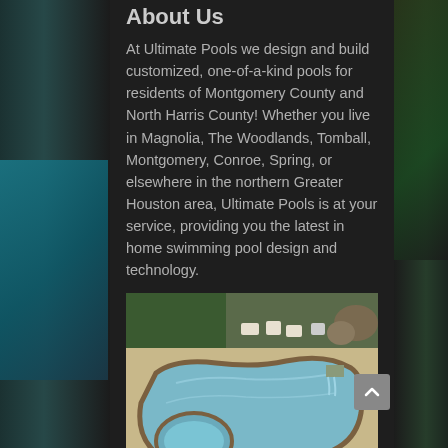About Us
At Ultimate Pools we design and build customized, one-of-a-kind pools for residents of Montgomery County and North Harris County! Whether you live in Magnolia, The Woodlands, Tomball, Montgomery, Conroe, Spring, or elsewhere in the northern Greater Houston area, Ultimate Pools is at your service, providing you the latest in home swimming pool design and technology.
[Figure (photo): Aerial view of a custom freeform swimming pool with attached spa/hot tub, water feature/waterfall, and tan concrete decking surrounded by patio furniture]
History